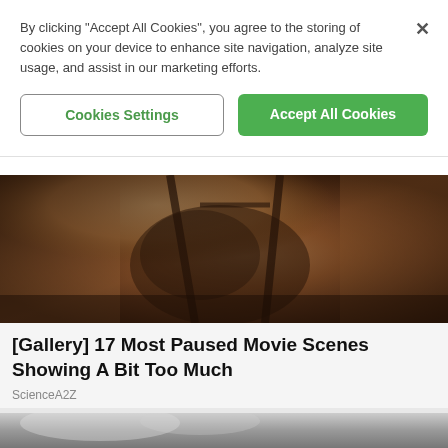By clicking “Accept All Cookies”, you agree to the storing of cookies on your device to enhance site navigation, analyze site usage, and assist in our marketing efforts.
Cookies Settings
Accept All Cookies
[Figure (photo): Cropped photo of a person wearing a dark patterned lingerie top, warm-toned background]
[Gallery] 17 Most Paused Movie Scenes Showing A Bit Too Much
ScienceA2Z
[Figure (photo): Partial black-and-white photo visible at the very bottom of the page]